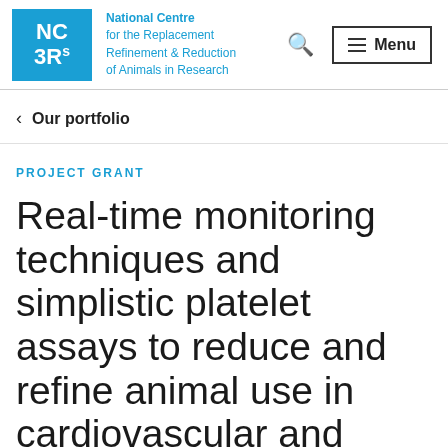[Figure (logo): NC3Rs logo — blue square with white text NC 3Rs, alongside organisation name: National Centre for the Replacement Refinement & Reduction of Animals in Research]
National Centre for the Replacement Refinement & Reduction of Animals in Research | Search | Menu
< Our portfolio
PROJECT GRANT
Real-time monitoring techniques and simplistic platelet assays to reduce and refine animal use in cardiovascular and respiratory biomedical